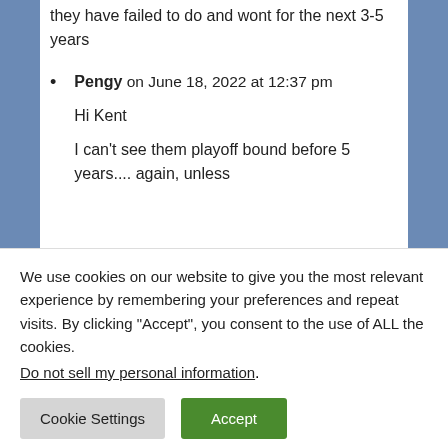they have failed to do and wont for the next 3-5 years
Pengy on June 18, 2022 at 12:37 pm

Hi Kent

I can't see them playoff bound before 5 years.... again, unless
We use cookies on our website to give you the most relevant experience by remembering your preferences and repeat visits. By clicking “Accept”, you consent to the use of ALL the cookies.
Do not sell my personal information.